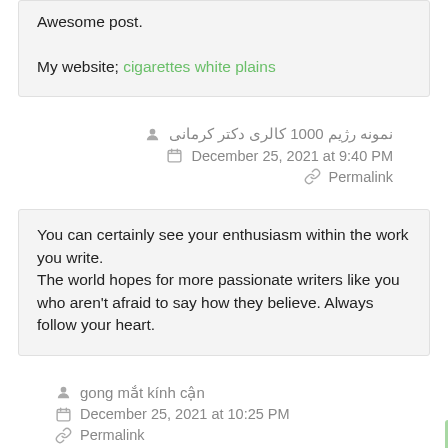Awesome post.

My website; cigarettes white plains
نمونه رژیم 1000 کالری دکتر کرمانی
December 25, 2021 at 9:40 PM
Permalink
You can certainly see your enthusiasm within the work you write.
The world hopes for more passionate writers like you who aren't afraid to say how they believe. Always follow your heart.
gong mắt kính cận
December 25, 2021 at 10:25 PM
Permalink